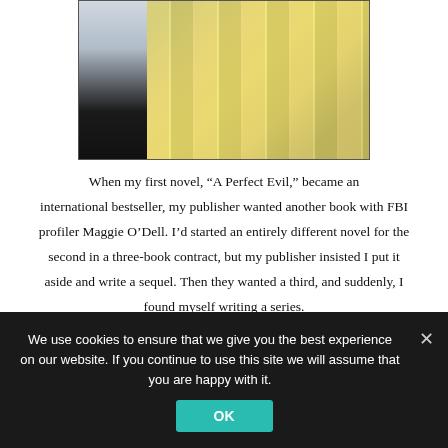[Figure (photo): A person in a white coat standing in front of a bookstore display window with many colorful books arranged in rows.]
When my first novel, “A Perfect Evil,” became an international bestseller, my publisher wanted another book with FBI profiler Maggie O’Dell. I’d started an entirely different novel for the second in a three-book contract, but my publisher insisted I put it aside and write a sequel. Then they wanted a third, and suddenly, I found myself writing a series.
Only recently have I revealed that I didn’t particularly like
We use cookies to ensure that we give you the best experience on our website. If you continue to use this site we will assume that you are happy with it.